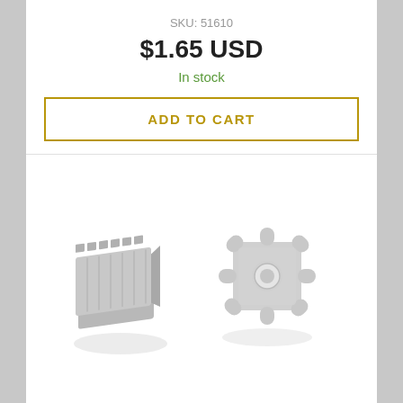SKU: 51610
$1.65 USD
In stock
ADD TO CART
[Figure (photo): Two small plastic gear parts (pinion gears) shown side by side on a white background. Left gear is a cylindrical spur gear shown at an angle; right gear is a smaller star/pinion gear shown from the front.]